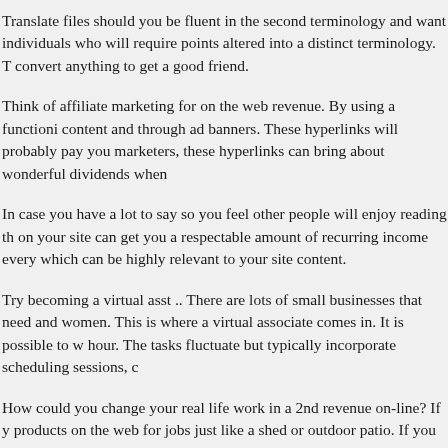Translate files should you be fluent in the second terminology and want individuals who will require points altered into a distinct terminology. T convert anything to get a good friend.
Think of affiliate marketing for on the web revenue. By using a functioni content and through ad banners. These hyperlinks will probably pay you marketers, these hyperlinks can bring about wonderful dividends when
In case you have a lot to say so you feel other people will enjoy reading th on your site can get you a respectable amount of recurring income every which can be highly relevant to your site content.
Try becoming a virtual asst .. There are lots of small businesses that need and women. This is where a virtual associate comes in. It is possible to w hour. The tasks fluctuate but typically incorporate scheduling sessions, c
How could you change your real life work in a 2nd revenue on-line? If y products on the web for jobs just like a shed or outdoor patio. If you are a talent online!